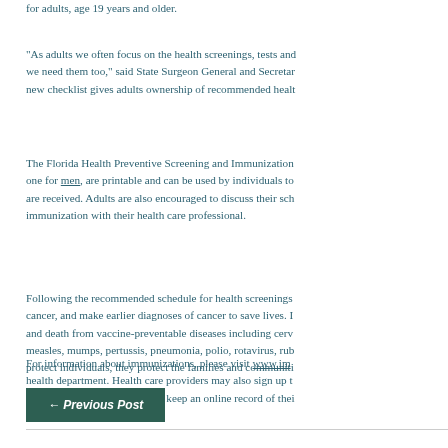for adults, age 19 years and older.
"As adults we often focus on the health screenings, tests and we need them too," said State Surgeon General and Secreta new checklist gives adults ownership of recommended healt
The Florida Health Preventive Screening and Immunization one for men, are printable and can be used by individuals to are received. Adults are also encouraged to discuss their sch immunization with their health care professional.
Following the recommended schedule for health screenings cancer, and make earlier diagnoses of cancer to save lives. and death from vaccine-preventable diseases including cerv measles, mumps, pertussis, pneumonia, polio, rotavirus, rub protect individuals, they protect the families and communiti
For information about immunizations, please visit www.im health department. Health care providers may also sign up t registry at www.flshots.com to keep an online record of thei
← Previous Post